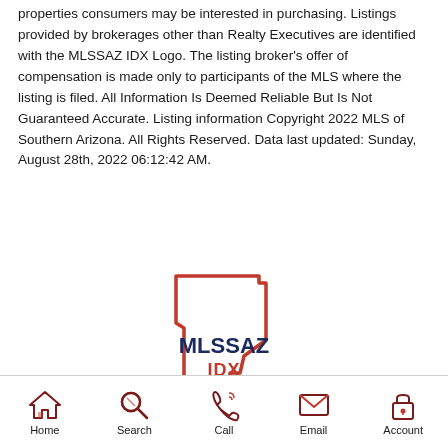properties consumers may be interested in purchasing. Listings provided by brokerages other than Realty Executives are identified with the MLSSAZ IDX Logo. The listing broker's offer of compensation is made only to participants of the MLS where the listing is filed. All Information Is Deemed Reliable But Is Not Guaranteed Accurate. Listing information Copyright 2022 MLS of Southern Arizona. All Rights Reserved. Data last updated: Sunday, August 28th, 2022 06:12:42 AM.
[Figure (logo): MLSSAZ IDX logo — outline of Arizona state shape in red/orange with MLSSAZ IDX text in dark navy/red below]
Home | Search | Call | Email | Account